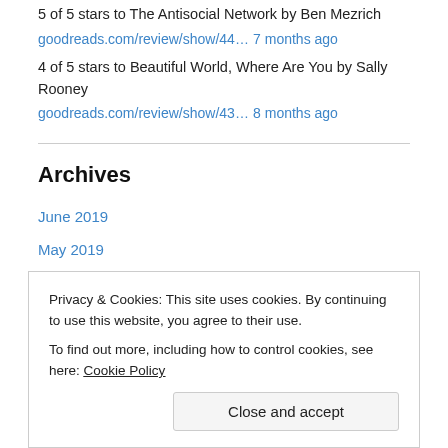5 of 5 stars to The Antisocial Network by Ben Mezrich
goodreads.com/review/show/44… 7 months ago
4 of 5 stars to Beautiful World, Where Are You by Sally Rooney
goodreads.com/review/show/43… 8 months ago
Archives
June 2019
May 2019
April 2019
March 2019
November 2018
Privacy & Cookies: This site uses cookies. By continuing to use this website, you agree to their use. To find out more, including how to control cookies, see here: Cookie Policy
December 2017